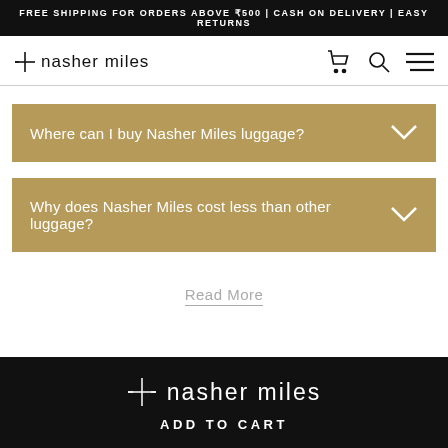FREE SHIPPING FOR ORDERS ABOVE ₹500 | CASH ON DELIVERY | EASY RETURNS
[Figure (logo): Nasher Miles logo with crosshair/plus icon and nav icons (cart, search, hamburger menu)]
Where can I buy Nasher Miles luggage?
Why does Nasher Miles cost less than other luggage?
Read More
[Figure (logo): Nasher Miles white logo on black footer bar with ADD TO CART text]